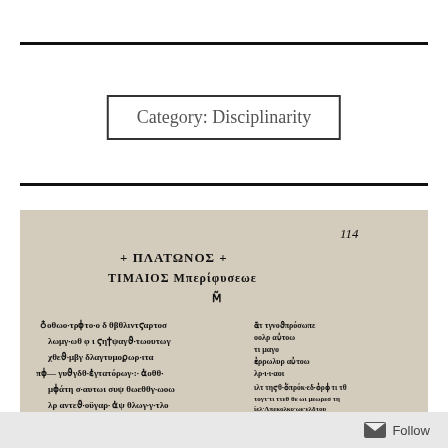Category: Disciplinarity
[Figure (photo): Photograph of a medieval Greek manuscript page showing handwritten Greek text in a Byzantine script style, with two columns of text and a page number '114' visible in the upper right. The manuscript appears to be from Plato's Timaeus based on the visible title text 'ΠΛΑΤΩΝΟΣ ΤΙΜΑΙΟΣ'.]
Follow